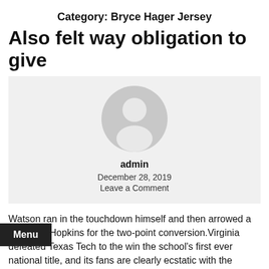Category: Bryce Hager Jersey
Also felt way obligation to give
[Figure (illustration): Default user avatar: a grey circle with a white silhouette of a person (head and shoulders)]
admin
December 28, 2019
Leave a Comment
Watson ran in the touchdown himself and then arrowed a pass into Hopkins for the two-point conversion.Virginia defeated Texas Tech to the win the school's first ever national title, and its fans are clearly ecstatic with the win.Gregg Popovich is expected to take the lead.I LOVE